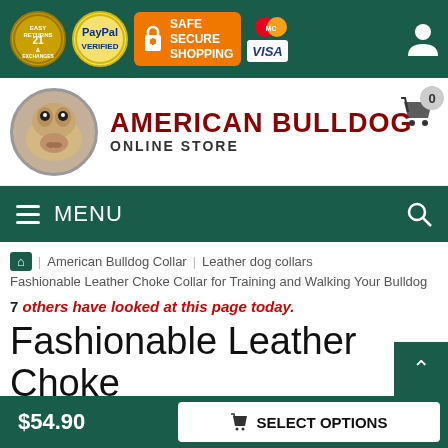Easy Returns & Exchanges | PayPal Verified | Safe Secure Shopping | MasterCard | VISA
[Figure (logo): American Bulldog Online Store logo with bulldog mascot in circle]
MENU
Home > American Bulldog Collar > Leather dog collars > Fashionable Leather Choke Collar for Training and Walking Your Bulldog
7 others have looked at this page today.
Fashionable Leather Choke Collar for Training and
$54.90  SELECT OPTIONS